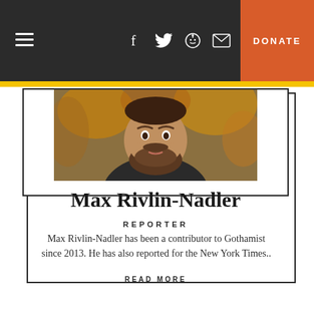≡  f  🐦  reddit  ✉  DONATE
[Figure (photo): Profile photo of Max Rivlin-Nadler, a bearded man outdoors with autumn foliage background]
Max Rivlin-Nadler
REPORTER
Max Rivlin-Nadler has been a contributor to Gothamist since 2013. He has also reported for the New York Times..
READ MORE
[Figure (logo): Twitter bird icon]